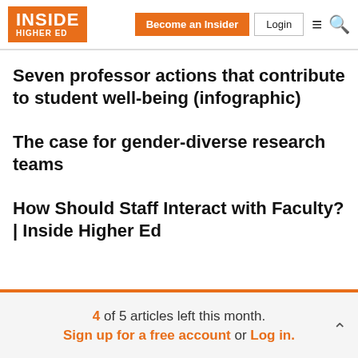Inside Higher Ed — Become an Insider | Login
Seven professor actions that contribute to student well-being (infographic)
The case for gender-diverse research teams
How Should Staff Interact with Faculty? | Inside Higher Ed
4 of 5 articles left this month. Sign up for a free account or Log in.